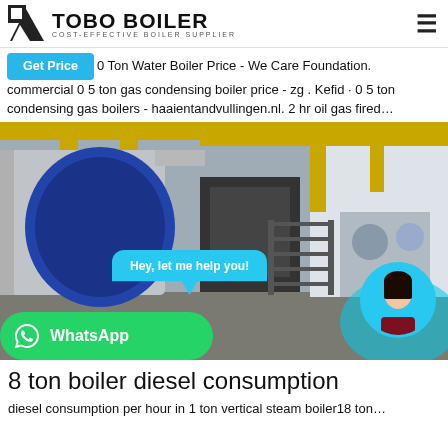[Figure (logo): TOBO BOILER logo with icon and tagline COST-EFFECTIVE BOILER SUPPLIER]
Get Price  0 Ton Water Boiler Price - We Care Foundation. commercial 0 5 ton gas condensing boiler price - zg . Kefid · 0 5 ton condensing gas boilers - haaientandvullingen.nl. 2 hr oil gas fired…
[Figure (photo): Industrial boiler room with large blue cylindrical boiler, yellow overhead pipes, and metal staircase. Chat bubble saying 'Hey, let me help you!' and circular avatar of a woman. WhatsApp button overlay.]
8 ton boiler diesel consumption
diesel consumption per hour in 1 ton vertical steam boiler18 ton…